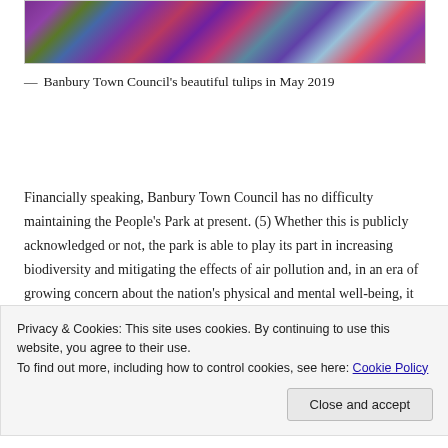[Figure (photo): Colourful tulips and flowers in a garden — Banbury Town Council's beautiful tulips in May 2019]
— Banbury Town Council's beautiful tulips in May 2019
Financially speaking, Banbury Town Council has no difficulty maintaining the People's Park at present. (5) Whether this is publicly acknowledged or not, the park is able to play its part in increasing biodiversity and mitigating the effects of air pollution and, in an era of growing concern about the nation's physical and mental well-being, it has a positive impact on local people's health in encouraging short walks with or without the dog, and as a meeting place that can
Privacy & Cookies: This site uses cookies. By continuing to use this website, you agree to their use.
To find out more, including how to control cookies, see here: Cookie Policy
Close and accept